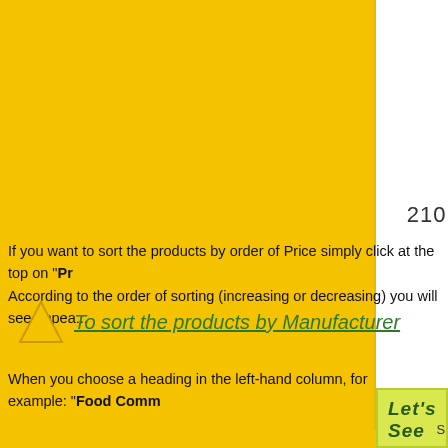[Figure (photo): Product bottle images shown in a white column on the right side of the page, showing three supplement bottles with green labels on a brown/cork background]
210.00
If you want to sort the products by order of Price simply click at the top on "Pr... According to the order of sorting (increasing or decreasing) you will see appea...
▲ To sort the products by Manufacturer
When you choose a heading in the left-hand column, for example: "Food Comm...
[Figure (screenshot): A product listing panel with yellow-green background showing 'Let's See !' heading, Show: A dropdown, Displaying 1 to 10 (of 14 products), and a Weight column header in olive green]
Let's See !    Show: A
Displaying 1 to 10 (of 14 products)
Weight